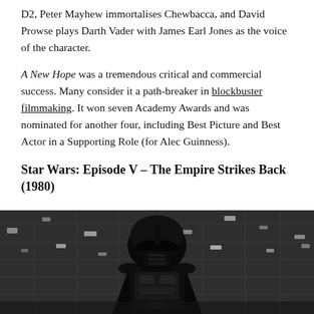D2, Peter Mayhew immortalises Chewbacca, and David Prowse plays Darth Vader with James Earl Jones as the voice of the character.
A New Hope was a tremendous critical and commercial success. Many consider it a path-breaker in blockbuster filmmaking. It won seven Academy Awards and was nominated for another four, including Best Picture and Best Actor in a Supporting Role (for Alec Guinness).
Star Wars: Episode V – The Empire Strikes Back (1980)
Why watch: For Yoda and the epic duel between Luke and Darth Vader.
[Figure (photo): Black and white movie still showing Darth Vader in his iconic helmet and armor against a dark background with lit panels]